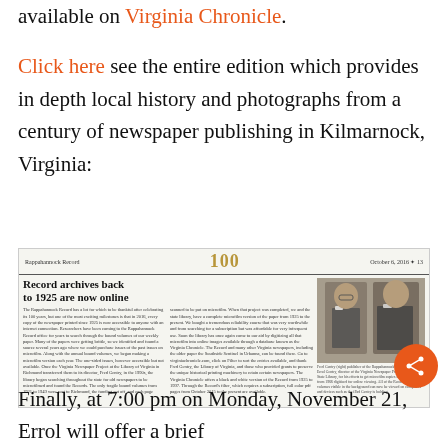available on Virginia Chronicle.
Click here see the entire edition which provides in depth local history and photographs from a century of newspaper publishing in Kilmarnock, Virginia:
[Figure (screenshot): Newspaper clipping showing headline 'Record archives back to 1925 are now online' with article text in two columns and a photo of two men shaking hands on the right side. Header reads 'Rappahannock Record' with '100' in gold.]
Finally, at 7:00 pm on Monday, November 21, Errol will offer a brief